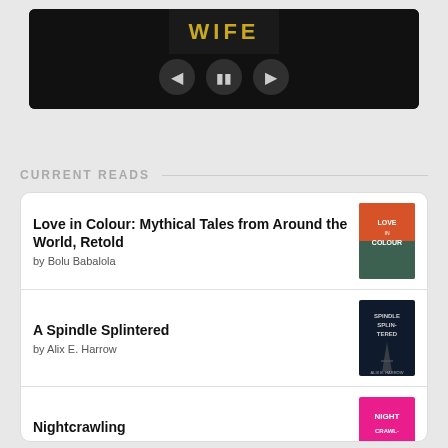[Figure (screenshot): A media player UI showing a dark/black background with 'WIFE' text in golden yellow, and playback controls (previous, pause, next) shown as circular buttons below the title.]
CURRENT READS
Love in Colour: Mythical Tales from Around the World, Retold by Bolu Babalola
A Spindle Splintered by Alix E. Harrow
Nightcrawling by Leila Mottley